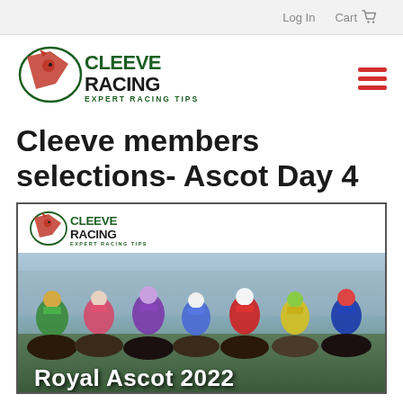Log In   Cart
[Figure (logo): Cleeve Racing - Expert Racing Tips logo with red horse head silhouette]
Cleeve members selections- Ascot Day 4
[Figure (photo): Cleeve Racing branded image showing Royal Ascot 2022 jockeys racing horses, with Cleeve Racing logo in white bar at top of image and 'Royal Ascot 2022' text overlay at bottom]